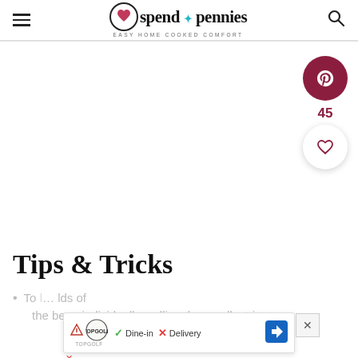spend with pennies — EASY HOME COOKED COMFORT
[Figure (logo): Spend with Pennies logo with circular icon and tagline EASY HOME COOKED COMFORT]
[Figure (infographic): Pinterest share button (dark red circle with P icon) showing count 45, and a heart/save button (white circle with heart outline)]
Tips & Tricks
To … lds of the bean individually, pulling the small, stringy
[Figure (screenshot): Advertisement overlay showing TopGolf logo, Dine-in with checkmark, Delivery with X, and navigation icon]